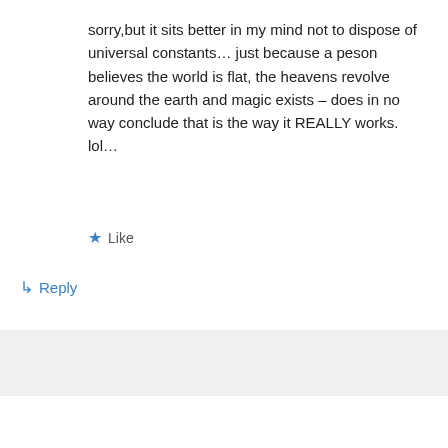sorry,but it sits better in my mind not to dispose of universal constants… just because a peson believes the world is flat, the heavens revolve around the earth and magic exists – does in no way conclude that is the way it REALLY works. lol…
★ Like
↳ Reply
Darin Crossland on August 1, 2017 at 3:48 pm
Advertisements
[Figure (other): Victoria's Secret advertisement banner with model photo, VS logo, 'SHOP THE COLLECTION' text and 'SHOP NOW' button]